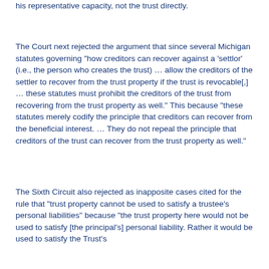his representative capacity, not the trust directly.
The Court next rejected the argument that since several Michigan statutes governing "how creditors can recover against a 'settlor' (i.e., the person who creates the trust) … allow the creditors of the settler to recover from the trust property if the trust is revocable[,] … these statutes must prohibit the creditors of the trust from recovering from the trust property as well." This because "these statutes merely codify the principle that creditors can recover from the beneficial interest. … They do not repeal the principle that creditors of the trust can recover from the trust property as well."
The Sixth Circuit also rejected as inapposite cases cited for the rule that "trust property cannot be used to satisfy a trustee's personal liabilities" because "the trust property here would not be used to satisfy [the principal's] personal liability. Rather it would be used to satisfy the Trust's